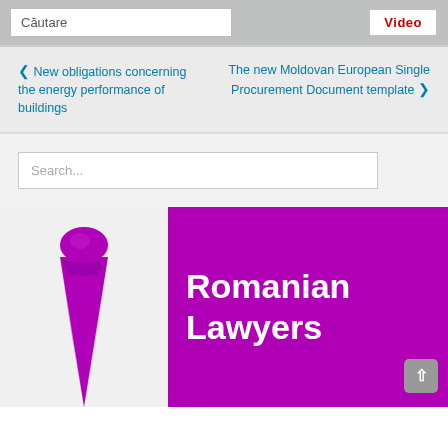Căutare | Video
❮ New obligations concerning the energy performance of buildings
The new Moldovan European Single Procurement Document template ❯
Search...
[Figure (photo): Purple necktie and banner reading Romanian Lawyers]
Romanian Lawyers